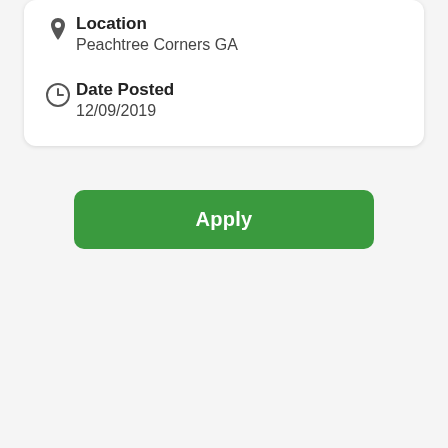Location
Peachtree Corners GA
Date Posted
12/09/2019
Apply